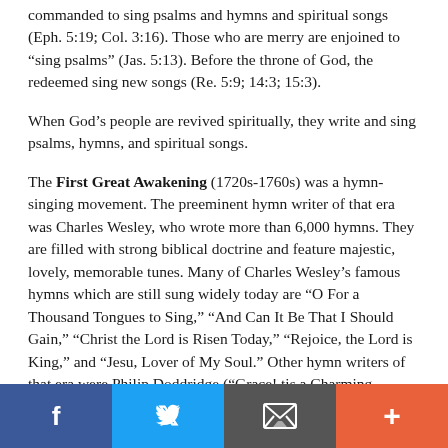commanded to sing psalms and hymns and spiritual songs (Eph. 5:19; Col. 3:16). Those who are merry are enjoined to “sing psalms” (Jas. 5:13). Before the throne of God, the redeemed sing new songs (Re. 5:9; 14:3; 15:3).
When God’s people are revived spiritually, they write and sing psalms, hymns, and spiritual songs.
The First Great Awakening (1720s-1760s) was a hymn-singing movement. The preeminent hymn writer of that era was Charles Wesley, who wrote more than 6,000 hymns. They are filled with strong biblical doctrine and feature majestic, lovely, memorable tunes. Many of Charles Wesley’s famous hymns which are still sung widely today are “O For a Thousand Tongues to Sing,” “And Can It Be That I Should Gain,” “Christ the Lord is Risen Today,” “Rejoice, the Lord is King,” and “Jesu, Lover of My Soul.” Other hymn writers of that era were Philip Doddridge (“Grace! tis a Charming Sound,” “Hark! the Herald Angels Sing,” “Joy to the World”), John Newton (“Amazing Grace”), and Samuel Stennett (“On Jordan’s Stormy Banks I Stand”).
Facebook | Twitter | Email | +